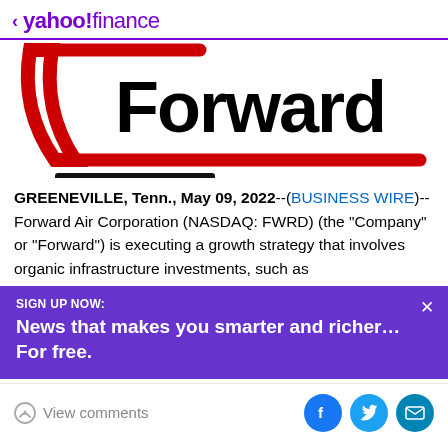< yahoo!finance
[Figure (logo): Forward Air Corporation logo — red angular bracket shape on left, bold black 'Forward' text on right, with three horizontal black lines tapering below forming a stylized chevron]
GREENEVILLE, Tenn., May 09, 2022--(BUSINESS WIRE)--Forward Air Corporation (NASDAQ: FWRD) (the "Company" or "Forward") is executing a growth strategy that involves organic infrastructure investments, such as
SIGN UP NOW:
News that makes you smarter and richer… For free.
View comments